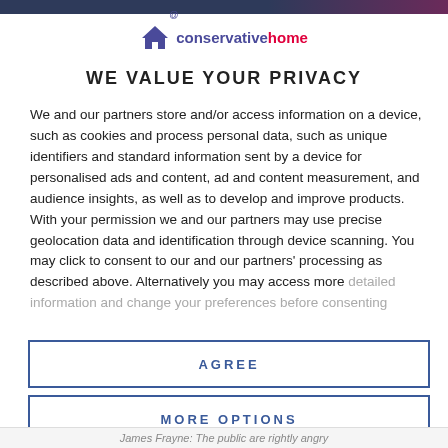[Figure (logo): ConservativeHome logo with house icon and @ symbol]
WE VALUE YOUR PRIVACY
We and our partners store and/or access information on a device, such as cookies and process personal data, such as unique identifiers and standard information sent by a device for personalised ads and content, ad and content measurement, and audience insights, as well as to develop and improve products. With your permission we and our partners may use precise geolocation data and identification through device scanning. You may click to consent to our and our partners' processing as described above. Alternatively you may access more detailed information and change your preferences before consenting
AGREE
MORE OPTIONS
James Frayne: The public are rightly angry